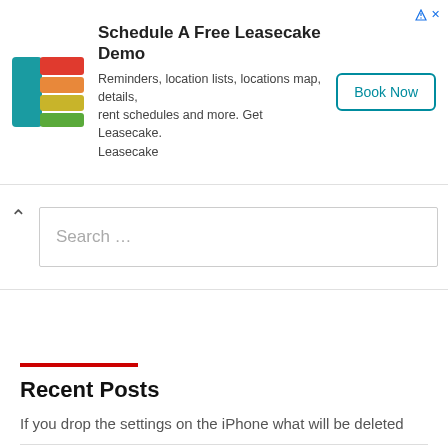[Figure (other): Leasecake advertisement banner with logo, title 'Schedule A Free Leasecake Demo', description text, and Book Now button]
Search …
Recent Posts
If you drop the settings on the iPhone what will be deleted
How to install …